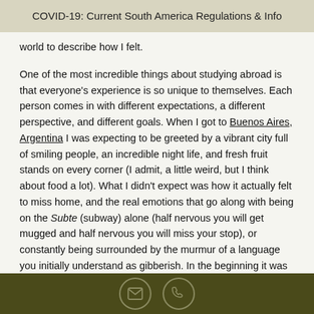COVID-19: Current South America Regulations & Info
world to describe how I felt.

One of the most incredible things about studying abroad is that everyone's experience is so unique to themselves. Each person comes in with different expectations, a different perspective, and different goals. When I got to Buenos Aires, Argentina I was expecting to be greeted by a vibrant city full of smiling people, an incredible night life, and fresh fruit stands on every corner (I admit, a little weird, but I think about food a lot). What I didn't expect was how it actually felt to miss home, and the real emotions that go along with being on the Subte (subway) alone (half nervous you will get mugged and half nervous you will miss your stop), or constantly being surrounded by the murmur of a language you initially understand as gibberish. In the beginning it was all a little overwhelming. I remember coming home to my host